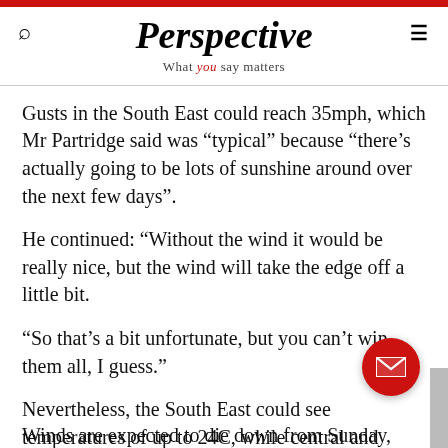Perspective – What you say matters
Gusts in the South East could reach 35mph, which Mr Partridge said was “typical” because “there’s actually going to be lots of sunshine around over the next few days”.
He continued: “Without the wind it would be really nice, but the wind will take the edge off a little bit.
“So that’s a bit unfortunate, but you can’t win them all, I guess.”
Nevertheless, the South East could see temperatures of up to 24C, while central and southern England around 22C or 23C.
Winds are expected to die down from Sunday, as the